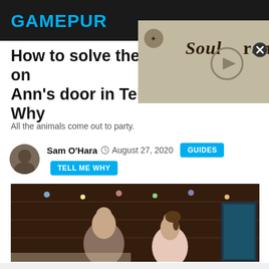GAMEPUR
[Figure (screenshot): Soulframe video thumbnail with play button and stylized gothic text logo]
How to solve the riddle on Ann’s door in Tell Me Why
All the animals come out to party.
Sam O’Hara   August 27, 2020   GUIDES   TELL ME WHY
[Figure (photo): Two characters facing each other in a dimly lit wooden room decorated with string lights, from the game Tell Me Why]